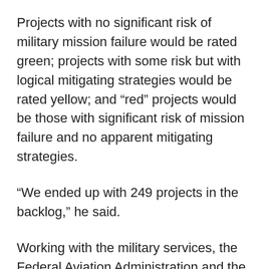Projects with no significant risk of military mission failure would be rated green; projects with some risk but with logical mitigating strategies would be rated yellow; and “red” projects would be those with significant risk of mission failure and no apparent mitigating strategies.
“We ended up with 249 projects in the backlog,” he said.
Working with the military services, the Federal Aviation Administration and the Bureau of Land Management to review the backlog, clearinghouse staffers had by late May completed initial assessment of all projects, Belote said.